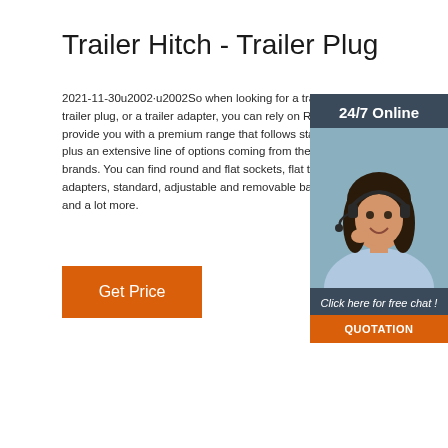Trailer Hitch - Trailer Plug
2021-11-30u2002·u2002So when looking for a trailer hitch, a trailer plug, or a trailer adapter, you can rely on Repco to provide you with a premium range that follows standards plus an extensive line of options coming from the best brands. You can find round and flat sockets, flat to large adapters, standard, adjustable and removable ball mounts, and a lot more.
[Figure (other): Chat widget with '24/7 Online' header, photo of woman with headset, 'Click here for free chat!' text, and orange QUOTATION button]
Get Price